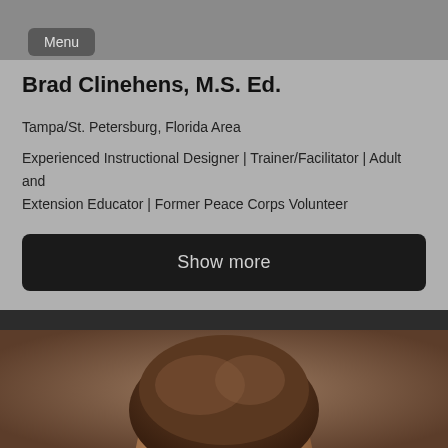[Figure (screenshot): Gray navigation menu button labeled 'Menu' in top left corner]
Brad Clinehens, M.S. Ed.
Tampa/St. Petersburg, Florida Area
Experienced Instructional Designer | Trainer/Facilitator | Adult and Extension Educator | Former Peace Corps Volunteer
E-Learning
[Figure (other): Dark button labeled 'Show more']
[Figure (photo): Partial photo of a person's head with brown hair against a brownish-gray background, cropped at bottom of page]